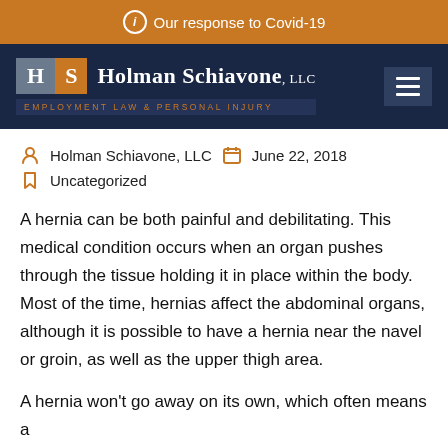ⓘ Our response to Covid-19
[Figure (logo): Holman Schiavone, LLC law firm logo with H and S letter blocks and tagline 'Employment Law & Personal Injury' on dark navy background with hamburger menu icon]
Holman Schiavone, LLC   June 22, 2018
Uncategorized
A hernia can be both painful and debilitating. This medical condition occurs when an organ pushes through the tissue holding it in place within the body. Most of the time, hernias affect the abdominal organs, although it is possible to have a hernia near the navel or groin, as well as the upper thigh area.
A hernia won't go away on its own, which often means a